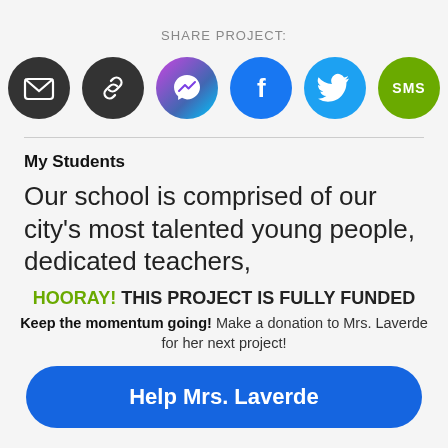SHARE PROJECT:
[Figure (infographic): Six social sharing icon circles: Email (dark grey with envelope), Link (dark grey with chain link), Messenger (gradient purple-blue with lightning bolt), Facebook (blue with f), Twitter (cyan with bird), SMS (green with SMS text)]
My Students
Our school is comprised of our city's most talented young people, dedicated teachers,
HOORAY! THIS PROJECT IS FULLY FUNDED
Keep the momentum going! Make a donation to Mrs. Laverde for her next project!
Help Mrs. Laverde